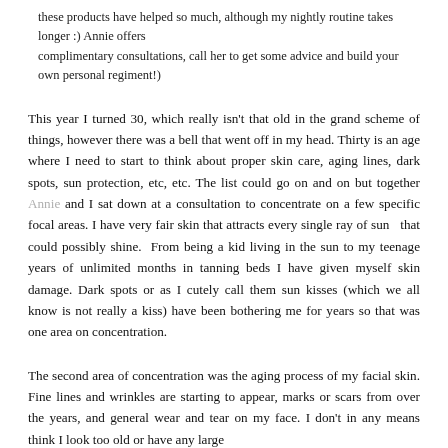these products have helped so much, although my nightly routine takes longer :) Annie offers complimentary consultations, call her to get some advice and build your own personal regiment!)
This year I turned 30, which really isn't that old in the grand scheme of things, however there was a bell that went off in my head. Thirty is an age where I need to start to think about proper skin care, aging lines, dark spots, sun protection, etc, etc. The list could go on and on but together Annie and I sat down at a consultation to concentrate on a few specific focal areas. I have very fair skin that attracts every single ray of sun  that could possibly shine.  From being a kid living in the sun to my teenage years of unlimited months in tanning beds I have given myself skin damage. Dark spots or as I cutely call them sun kisses (which we all know is not really a kiss) have been bothering me for years so that was one area on concentration.
The second area of concentration was the aging process of my facial skin. Fine lines and wrinkles are starting to appear, marks or scars from over the years, and general wear and tear on my face. I don't in any means think I look too old or have any large